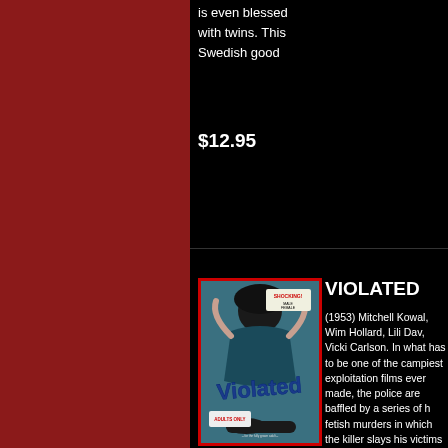is even blessed with twins. This Swedish good
$12.95
VIOLATED
(1953) Mitchell Kowal, Wim Hollard, Lili Dav, Vicki Carlson. In what has to be one of the campiest exploitation films ever made, the police are baffled by a series of h fetish murders in which the killer slays his victims and then gives them a...
$12.95
[Figure (photo): Movie poster for VIOLATED (1953), showing a dramatic woman holding a paper with SHOCKING! text, with the title VIOLATED in large letters]